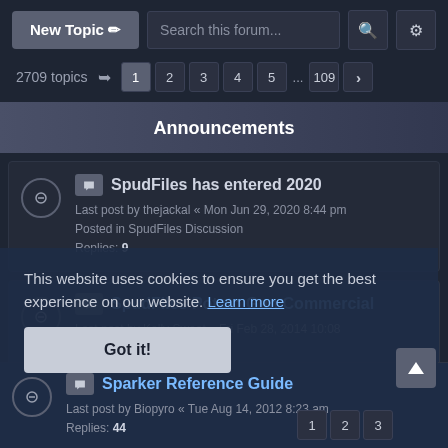New Topic | Search this forum...
2709 topics  1 2 3 4 5 ... 109 >
Announcements
SpudFiles has entered 2020
Last post by thejackal « Mon Jun 29, 2020 8:44 pm
Posted in SpudFiles Discussion
Replies: 9
SpudFiles Potato Gun Commercial
Last post by Kelly Sweet « Fri Feb 28, 2014 10:08
Replies: 14
This website uses cookies to ensure you get the best experience on our website. Learn more
Got it!
Sparker Reference Guide
Last post by Biopyro « Tue Aug 14, 2012 8:23 am
Replies: 44